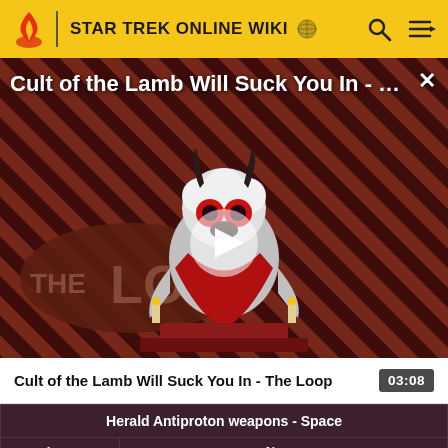STAR TREK ONLINE WIKI
[Figure (screenshot): Video thumbnail for 'Cult of the Lamb Will Suck You In - The Loop' showing a cartoon lamb character on a red throne with diagonal stripe background and THE LOOP text. A play button is overlaid in the center.]
Cult of the Lamb Will Suck You In - The Loop  03:08
| Icon | Name |
| --- | --- |
|  |  |